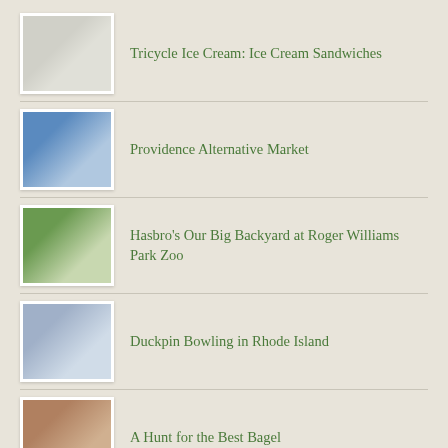Tricycle Ice Cream: Ice Cream Sandwiches
Providence Alternative Market
Hasbro's Our Big Backyard at Roger Williams Park Zoo
Duckpin Bowling in Rhode Island
A Hunt for the Best Bagel
Recent Comments
Michele Meek, PhD. on Three Years in Providence, and...